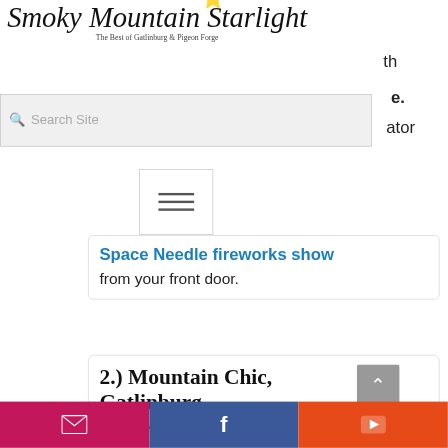Smoky Mountain Starlight – The Best of Gatlinburg & Pigeon Forge
Search Site
[Figure (other): Hamburger menu button with three horizontal lines]
Space Needle fireworks show from your front door.
2.) Mountain Chic, Gatlinburg
2BR  2BA  Sleeps 6
[Figure (other): Social media footer bar with email, Facebook, and YouTube icons]